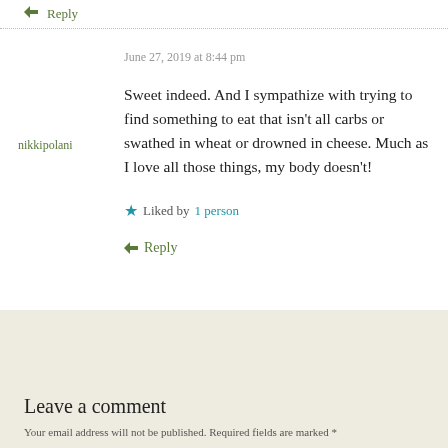↳ Reply
June 27, 2019 at 8:44 pm
nikkipolani
Sweet indeed. And I sympathize with trying to find something to eat that isn't all carbs or swathed in wheat or drowned in cheese. Much as I love all those things, my body doesn't!
★ Liked by 1 person
↳ Reply
Leave a comment
Your email address will not be published. Required fields are marked *